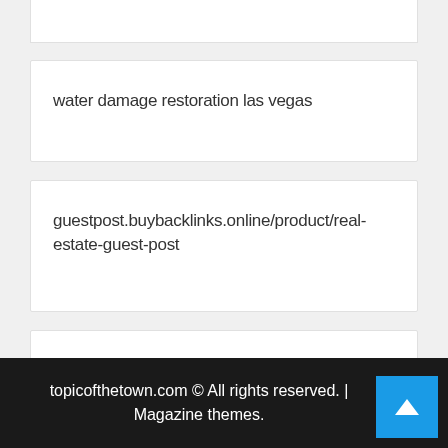[Figure (logo): Partial logo image at top of page, circular blue emblem]
water damage restoration las vegas
guestpost.buybacklinks.online/product/real-estate-guest-post
scorpion control las vegas
topicofthetown.com © All rights reserved. | Magazine themes.